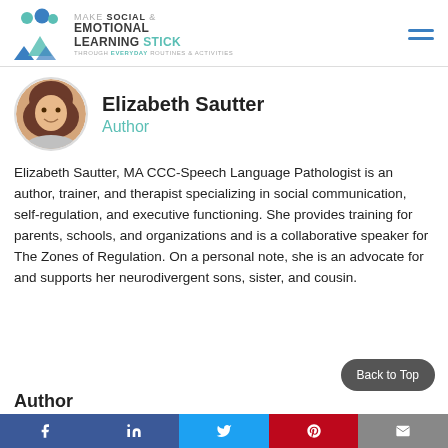Make Social & Emotional Learning Stick Through Everyday Routines & Activities
Elizabeth Sautter
Author
Elizabeth Sautter, MA CCC-Speech Language Pathologist is an author, trainer, and therapist specializing in social communication, self-regulation, and executive functioning. She provides training for parents, schools, and organizations and is a collaborative speaker for The Zones of Regulation. On a personal note, she is an advocate for and supports her neurodivergent sons, sister, and cousin.
Back to Top
Author
f in Twitter Pinterest Email